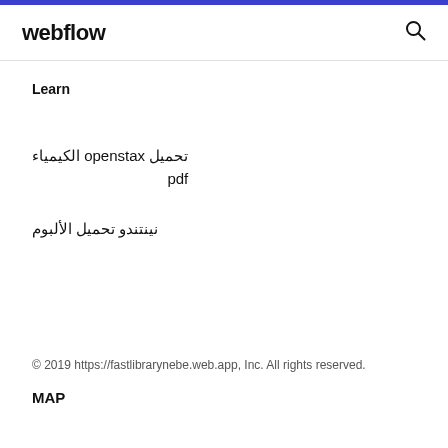webflow
Learn
تحميل openstax الكيمياء pdf
نينتندو تحميل الألبوم
© 2019 https://fastlibrarynebe.web.app, Inc. All rights reserved.
MAP